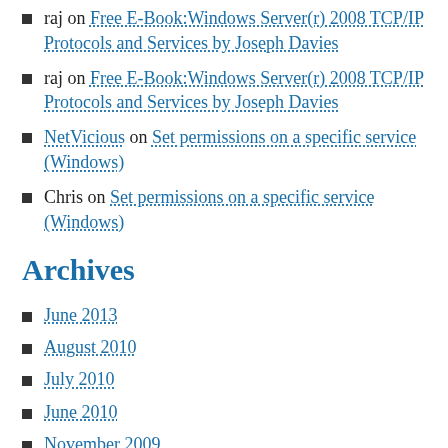raj on Free E-Book:Windows Server(r) 2008 TCP/IP Protocols and Services by Joseph Davies
raj on Free E-Book:Windows Server(r) 2008 TCP/IP Protocols and Services by Joseph Davies
NetVicious on Set permissions on a specific service (Windows)
Chris on Set permissions on a specific service (Windows)
Archives
June 2013
August 2010
July 2010
June 2010
November 2009